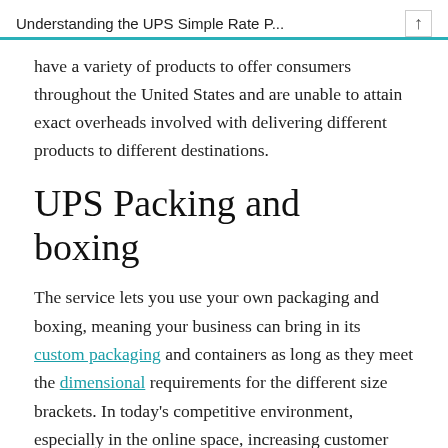Understanding the UPS Simple Rate P...
have a variety of products to offer consumers throughout the United States and are unable to attain exact overheads involved with delivering different products to different destinations.
UPS Packing and boxing
The service lets you use your own packaging and boxing, meaning your business can bring in its custom packaging and containers as long as they meet the dimensional requirements for the different size brackets. In today’s competitive environment, especially in the online space, increasing customer satisfaction is key, and recent trends show that